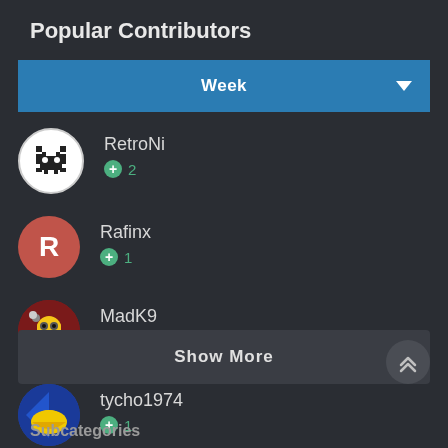Popular Contributors
Week
RetroNi +2
Rafinx +1
MadK9 +1
tycho1974 +1
Show More
Subcategories